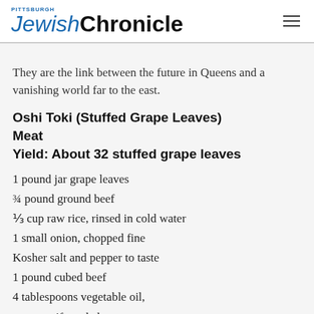Pittsburgh JewishChronicle
They are the link between the future in Queens and a vanishing world far to the east.
Oshi Toki (Stuffed Grape Leaves)
Meat
Yield: About 32 stuffed grape leaves
1 pound jar grape leaves
¾ pound ground beef
⅓ cup raw rice, rinsed in cold water
1 small onion, chopped fine
Kosher salt and pepper to taste
1 pound cubed beef
4 tablespoons vegetable oil,
or more, if needed